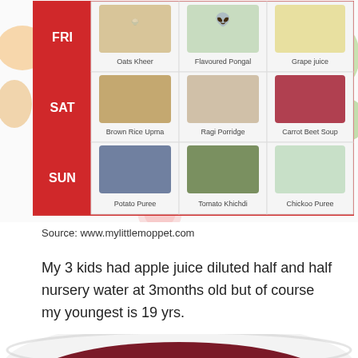[Figure (table-as-image): Weekly baby food chart showing FRI, SAT, SUN rows with meal images and labels: Oats Kheer, Flavoured Pongal, Grape juice, Brown Rice Upma, Ragi Porridge, Carrot Beet Soup, Potato Puree, Tomato Khichdi, Chickoo Puree]
Source: www.mylittlemoppet.com
My 3 kids had apple juice diluted half and half nursery water at 3months old but of course my youngest is 19 yrs.
[Figure (photo): A crystal bowl filled with a dark red berry compote or juice with whole berries]